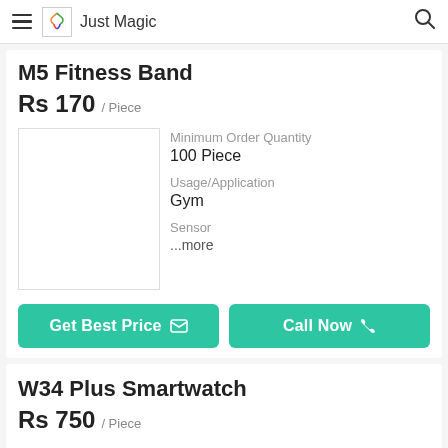Just Magic
M5 Fitness Band
Rs 170 / Piece
Minimum Order Quantity
100 Piece
Usage/Application
Gym
Sensor
...more
Get Best Price  Call Now
W34 Plus Smartwatch
Rs 750 / Piece